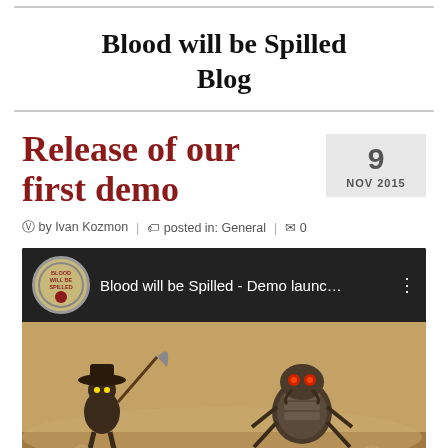Blood will be Spilled Blog
Release of our first demo
by Ivan Kozmon | posted in: General | 0
[Figure (screenshot): YouTube video embed showing 'Blood will be Spilled - Demo launc...' with game artwork featuring insect characters in a western scene]